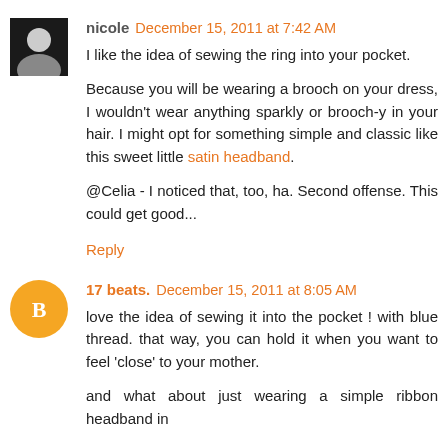nicole December 15, 2011 at 7:42 AM
I like the idea of sewing the ring into your pocket.
Because you will be wearing a brooch on your dress, I wouldn't wear anything sparkly or brooch-y in your hair. I might opt for something simple and classic like this sweet little satin headband.
@Celia - I noticed that, too, ha. Second offense. This could get good...
Reply
17 beats. December 15, 2011 at 8:05 AM
love the idea of sewing it into the pocket ! with blue thread. that way, you can hold it when you want to feel 'close' to your mother.
and what about just wearing a simple ribbon headband in